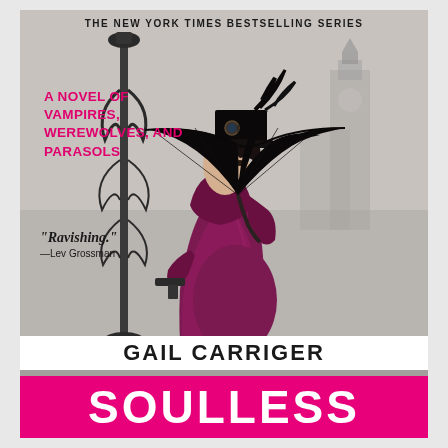THE NEW YORK TIMES BESTSELLING SERIES
A NOVEL OF VAMPIRES, WEREWOLVES, AND PARASOLS
[Figure (illustration): Book cover illustration: A Victorian woman in a dark purple-magenta dress holding a black parasol/umbrella and a pistol, wearing a top hat with goggles, viewed in profile. Background is a monochromatic sepia/grey scene of London with Big Ben and an ornate lamppost visible.]
"Ravishing."
—Lev Grossman
GAIL CARRIGER
SOULLESS